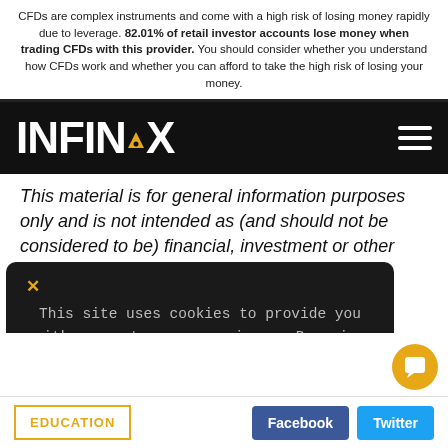CFDs are complex instruments and come with a high risk of losing money rapidly due to leverage. 82.01% of retail investor accounts lose money when trading CFDs with this provider. You should consider whether you understand how CFDs work and whether you can afford to take the high risk of losing your money.
[Figure (logo): INFINOX logo on black navigation bar with hamburger menu icon]
This material is for general information purposes only and is not intended as (and should not be considered to be) financial, investment or other advice on which reliance should be placed. INFINOX is not authorized to provide investment advice. No information contained in this material is intended to constitute a recommendation.
This site uses cookies to provide you with a great user experience. By using infinox.com, you accept our cookie policy.
EDUCATION
Facebook
Twitter